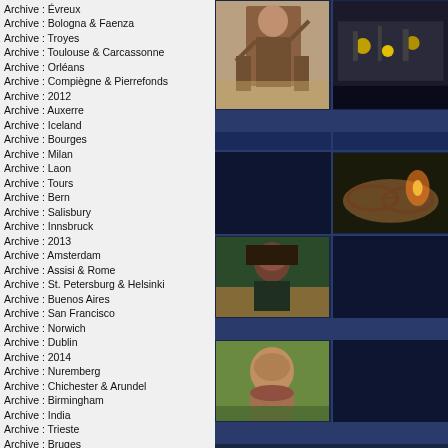Archive : Évreux
Archive : Bologna & Faenza
Archive : Troyes
Archive : Toulouse & Carcassonne
Archive : Orléans
Archive : Compiègne & Pierrefonds
Archive : 2012
Archive : Auxerre
Archive : Iceland
Archive : Bourges
Archive : Milan
Archive : Laon
Archive : Tours
Archive : Bern
Archive : Salisbury
Archive : Innsbruck
Archive : 2013
Archive : Amsterdam
Archive : Assisi & Rome
Archive : St. Petersburg & Helsinki
Archive : Buenos Aires
Archive : San Francisco
Archive : Norwich
Archive : Dublin
Archive : 2014
Archive : Nuremberg
Archive : Chichester & Arundel
Archive : Birmingham
Archive : India
Archive : Trieste
Archive : Bruges
Archive : 2015
Archive : Porto
Archive : China
Archive : King's Lynn
Archive : Sherborne
Archive : Bury St. Edmunds
Archive : Vilnius
Archive : 2016
Archive : New York & Philadelphia
Archive : Korea
Archive : Lichfield
Archive : Florence & Perugia
Archive : Spain
Archive : 2017
[Figure (photo): Person with arms raised in a warehouse or studio setting]
[Figure (photo): Band playing on stage with musicians and instruments]
[Figure (photo): Close-up of glasses with flame/fire in background]
[Figure (photo): Dark navy blue placeholder]
[Figure (photo): Young man's portrait with green tint, outdoor sunset]
[Figure (photo): Dark navy blue placeholder]
[Figure (photo): Man's face portrait outdoors with trees]
[Figure (photo): Dark navy blue placeholder]